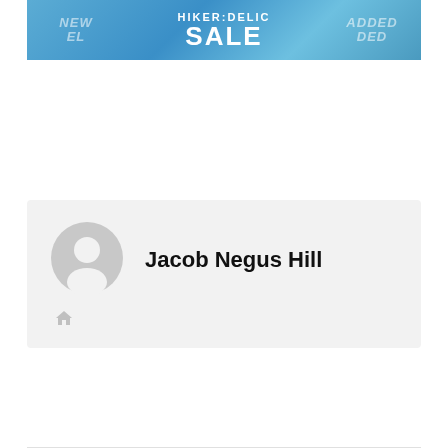[Figure (infographic): Banner advertisement for HIKER:DELIC SALE with blue watery background, text 'NEW EL ADDED' on sides and 'HIKER:DELIC SALE' in the center]
Jacob Negus Hill
[Figure (illustration): Small house/home icon in light gray]